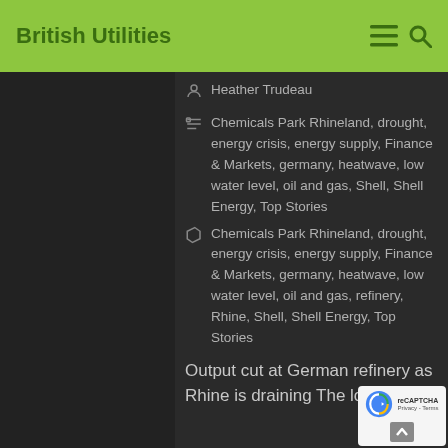British Utilities
Heather Trudeau
Chemicals Park Rhineland, drought, energy crisis, energy supply, Finance & Markets, germany, heatwave, low water level, oil and gas, Shell, Shell Energy, Top Stories
Chemicals Park Rhineland, drought, energy crisis, energy supply, Finance & Markets, germany, heatwave, low water level, oil and gas, refinery, Rhine, Shell, Shell Energy, Top Stories
Output cut at German refinery as Rhine is draining The low